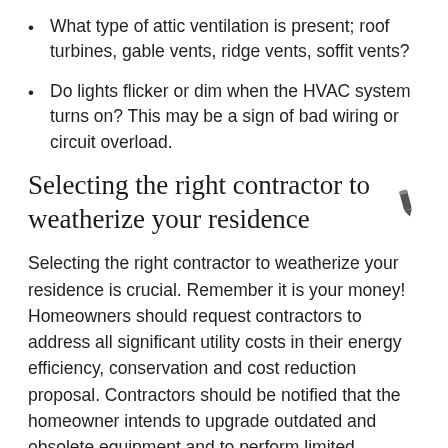What type of attic ventilation is present; roof turbines, gable vents, ridge vents, soffit vents?
Do lights flicker or dim when the HVAC system turns on? This may be a sign of bad wiring or circuit overload.
Selecting the right contractor to weatherize your residence
Selecting the right contractor to weatherize your residence is crucial. Remember it is your money! Homeowners should request contractors to address all significant utility costs in their energy efficiency, conservation and cost reduction proposal. Contractors should be notified that the homeowner intends to upgrade outdated and obsolete equipment and to perform limited selective improvements.
Ask the tough questions: Check contractor's references. Discuss the contractor's experience with energy efficiency improvements.